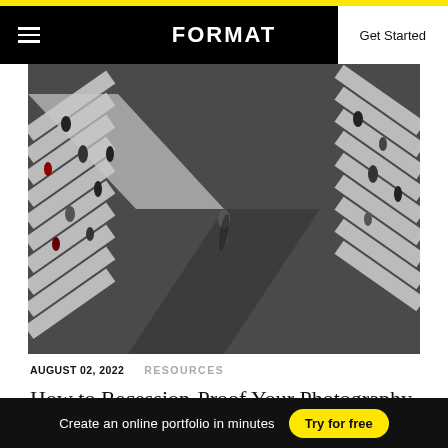FORMAT  Get Started
[Figure (photo): Aerial top-down view of pedestrians crossing two zebra crosswalks converging at the center of a dark asphalt road, with long shadows cast by the people.]
AUGUST 02, 2022   RESOURCES
How to Recession-Proof Your Photography Business
Create an online portfolio in minutes   Try for free